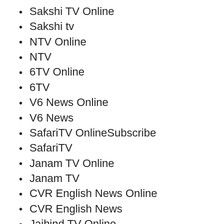Sakshi TV Online
Sakshi tv
NTV Online
NTV
6TV Online
6TV
V6 News Online
V6 News
SafariTV OnlineSubscribe
SafariTV
Janam TV Online
Janam TV
CVR English News Online
CVR English News
Jaihind TV Online
Jaihind TV
Kaumudy TV OnlineSubscribe
Kaumudy TV